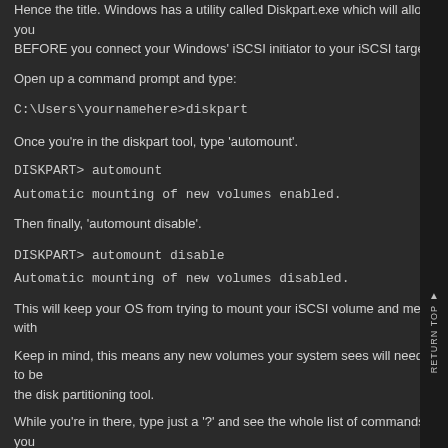Hence the title. Windows has a utility called Diskpart.exe which will allow you BEFORE you connect your Windows' iSCSI initiator to your iSCSI target.
Open up a command prompt and type:
Once you're in the diskpart tool, type 'automount'.
Then finally, 'automount disable'.
This will keep your OS from trying to mount your iSCSI volume and mess with
Keep in mind, this means any new volumes your system sees will need to be the disk partitioning tool.
While you're in there, type just a '?' and see the whole list of commands you Microsoft KB article below for a more thorough introduction!
http://support.microsoft.com/kb/300415